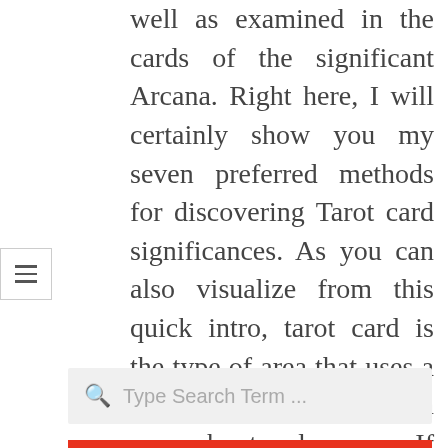well as examined in the cards of the significant Arcana. Right here, I will certainly show you my seven preferred methods for discovering Tarot card significances. As you can also visualize from this quick intro, tarot card is the type of area that uses a lot brand-new to learn more about and uncover. If you can address “yes” to that inquiry, you are seemingly not the only one who provided the big success of such web pages down the years for papers as well as comparable magazines.
[Figure (other): Hamburger menu button icon (three horizontal lines) in a bordered square box]
[Figure (other): Search input box with magnifying glass icon and placeholder text 'Type Search Term ...']
RECENT POSTS